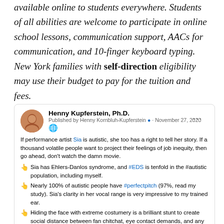The Dough Institute services and supports are publicly available online to students everywhere. Students of all abilities are welcome to participate in online school lessons, communication support, AACs for communication, and 10-finger keyboard typing. New York families with self-direction eligibility may use their budget to pay for the tuition and fees.
[Figure (screenshot): A LinkedIn social media post by Henny Kupferstein, Ph.D., published by Henny Kornbluh-Kupferstein on November 27, 2020. The post discusses Sia's autism, Ehlers-Danlos syndrome, perfect pitch, and costumery. Includes a profile photo avatar, name, publication date, and several bullet points with pointing hand emoji.]